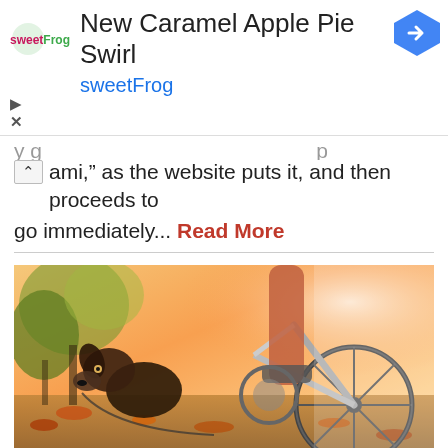[Figure (screenshot): SweetFrog advertisement banner with logo, title 'New Caramel Apple Pie Swirl', brand name 'sweetFrog', navigation arrow icon, and play/close controls]
...ami,” as the website puts it, and then proceeds to go immediately... Read More
[Figure (photo): A dog near a bicycle wheel outdoors on an autumn trail with warm sunlight and fallen leaves]